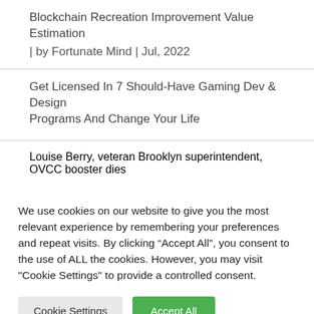Blockchain Recreation Improvement Value Estimation | by Fortunate Mind | Jul, 2022
Get Licensed In 7 Should-Have Gaming Dev & Design Programs And Change Your Life
Louise Berry, veteran Brooklyn superintendent, OVCC booster dies
We use cookies on our website to give you the most relevant experience by remembering your preferences and repeat visits. By clicking “Accept All”, you consent to the use of ALL the cookies. However, you may visit "Cookie Settings" to provide a controlled consent.